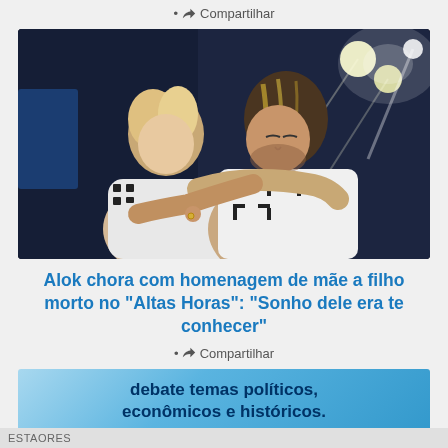• Compartilhar
[Figure (photo): Two people hugging on a TV studio set, one with highlighted hair, stage lights visible in the background]
Alok chora com homenagem de mãe a filho morto no "Altas Horas": "Sonho dele era te conhecer"
• Compartilhar
debate temas políticos, econômicos e históricos.
ESTAORES